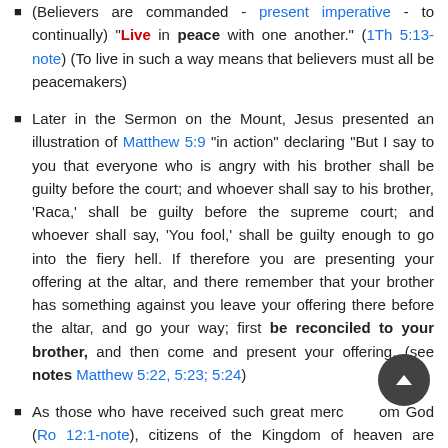(Believers are commanded - present imperative - to continually) "Live in peace with one another." (1Th 5:13-note) (To live in such a way means that believers must all be peacemakers)
Later in the Sermon on the Mount, Jesus presented an illustration of Matthew 5:9 "in action" declaring "But I say to you that everyone who is angry with his brother shall be guilty before the court; and whoever shall say to his brother, 'Raca,' shall be guilty before the supreme court; and whoever shall say, 'You fool,' shall be guilty enough to go into the fiery hell. If therefore you are presenting your offering at the altar, and there remember that your brother has something against you leave your offering there before the altar, and go your way; first be reconciled to your brother, and then come and present your offering. (see notes Matthew 5:22, 5:23; 5:24)
As those who have received such great mercy from God (Ro 12:1-note), citizens of the Kingdom of heaven are instructed, If possible, so far as it depends on you